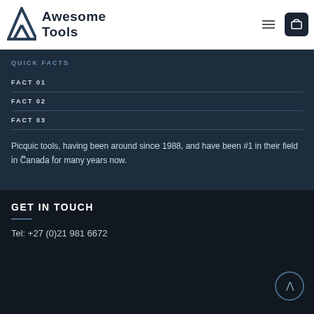Awesome Tools
QUICK FACTS
FACT 01
FACT 02
FACT 03
Picquic tools, having been around since 1988, and have been #1 in their field in Canada for many years now.
GET IN TOUCH
Tel: +27 (0)21 981 6672